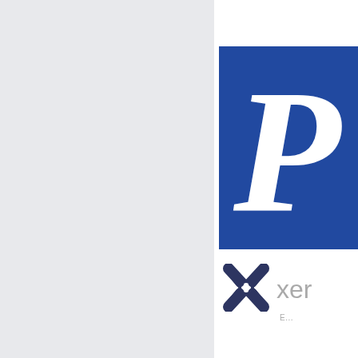[Figure (logo): Blue square logo with large white italic letter P, partially cropped on right edge]
[Figure (logo): Xero logo: dark navy X-shaped icon with crossing straps, followed by 'xer' text in light gray and 'E...' subtext beneath, partially cropped]